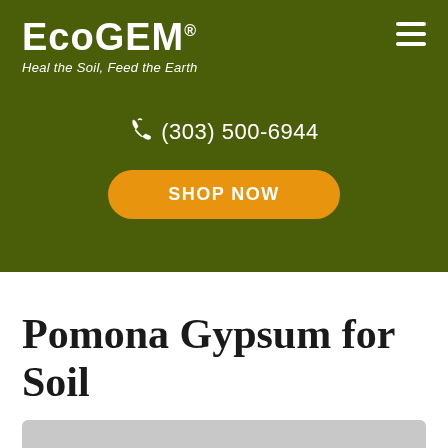EcoGEM® — Heal the Soil, Feed the Earth
(303) 500-6944
SHOP NOW
Pomona Gypsum for Soil
[Figure (photo): Bottom strip of product image partially visible]